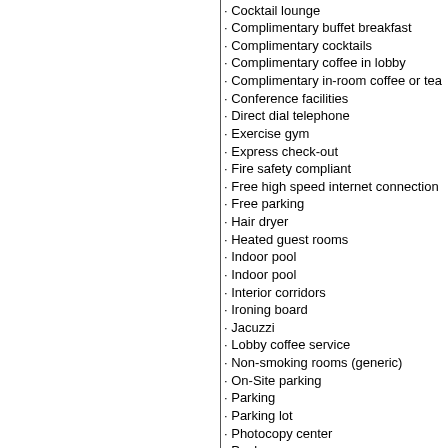· Cocktail lounge
· Complimentary buffet breakfast
· Complimentary cocktails
· Complimentary coffee in lobby
· Complimentary in-room coffee or tea
· Conference facilities
· Direct dial telephone
· Exercise gym
· Express check-out
· Fire safety compliant
· Free high speed internet connection
· Free parking
· Hair dryer
· Heated guest rooms
· Indoor pool
· Indoor pool
· Interior corridors
· Ironing board
· Jacuzzi
· Lobby coffee service
· Non-smoking rooms (generic)
· On-Site parking
· Parking
· Parking lot
· Photocopy center
· Pool
· Public area air conditioned
· Room service - limited menu
· Safe deposit box
· Security
· Sundry/Convenience store
· Welcome drink